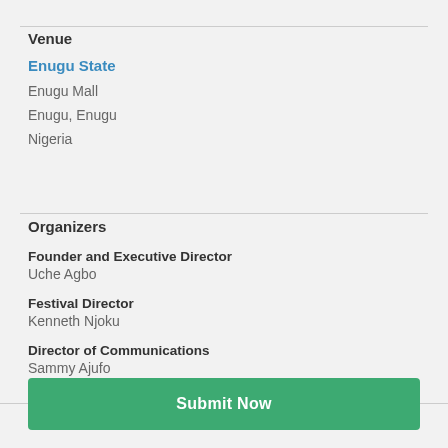Venue
Enugu State
Enugu Mall
Enugu, Enugu
Nigeria
Organizers
Founder and Executive Director
Uche Agbo
Festival Director
Kenneth Njoku
Director of Communications
Sammy Ajufo
Submit Now